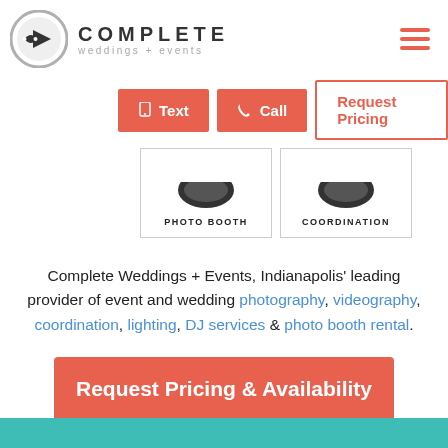[Figure (logo): Complete Weddings + Events logo with circular icon and wordmark]
[Figure (other): Hamburger menu icon with three horizontal red lines]
[Figure (other): Navigation buttons: Text (filled red), Call (filled red), Request Pricing (outline red)]
[Figure (other): Two service category cards: PHOTO BOOTH and COORDINATION, each with dark icon at top]
Complete Weddings + Events, Indianapolis' leading provider of event and wedding photography, videography, coordination, lighting, DJ services & photo booth rental.
[Figure (other): Request Pricing & Availability button in red/coral color]
[Figure (other): Teal/turquoise footer bar at bottom of page]